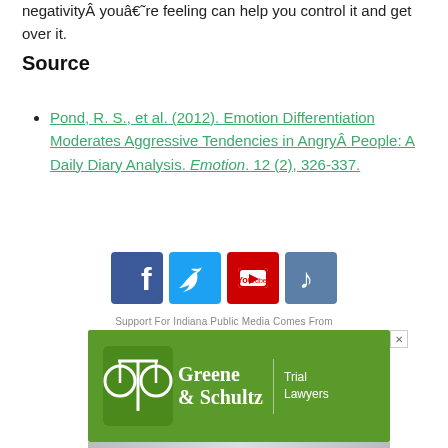negativity  you're feeling can help you control it and get over it.
Source
Pond, R. S., et al. (2012). Emotion Differentiation Moderates Aggressive Tendencies in Angry People: A Daily Diary Analysis. Emotion. 12 (2), 326-337.
[Figure (infographic): Four social media icon buttons: Facebook (blue), Twitter (light blue), YouTube (red), and a music note icon (steel blue)]
Support For Indiana Public Media Comes From
[Figure (logo): Greene & Schultz Trial Lawyers advertisement on green background with scales of justice logo]